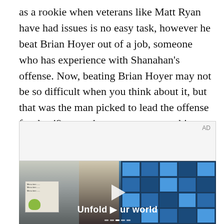as a rookie when veterans like Matt Ryan have had issues is no easy task, however he beat Brian Hoyer out of a job, someone who has experience with Shanahan's offense. Now, beating Brian Hoyer may not be so difficult when you think about it, but that was the man picked to lead the offense for the 49ers, so it must mean something.
[Figure (other): Advertisement placeholder with AD label in top right corner — light gray background box.]
[Figure (screenshot): Video player screenshot showing a young man in a denim jacket standing in front of a blue tile grid wall, with text overlay reading 'Unfold your world' and a play button in the center. Bottom shows timeline dots.]